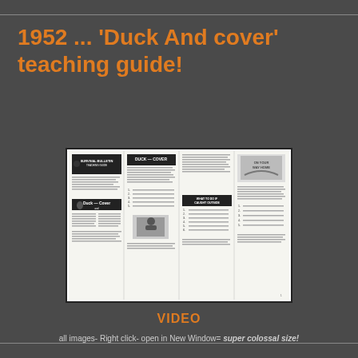1952 ... 'Duck And cover' teaching guide!
[Figure (photo): Scanned spread of a 1952 'Duck And Cover' teaching guide booklet, showing multiple pages with text columns, illustrations of a person ducking and covering, and black-and-white graphics.]
VIDEO
all images- Right click- open in New Window= super colossal size!